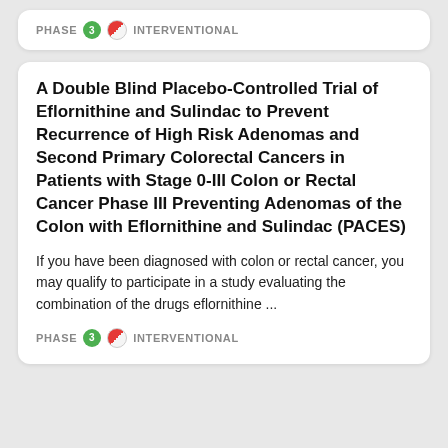PHASE 3 INTERVENTIONAL
A Double Blind Placebo-Controlled Trial of Eflornithine and Sulindac to Prevent Recurrence of High Risk Adenomas and Second Primary Colorectal Cancers in Patients with Stage 0-III Colon or Rectal Cancer Phase III Preventing Adenomas of the Colon with Eflornithine and Sulindac (PACES)
If you have been diagnosed with colon or rectal cancer, you may qualify to participate in a study evaluating the combination of the drugs eflornithine ...
PHASE 3 INTERVENTIONAL